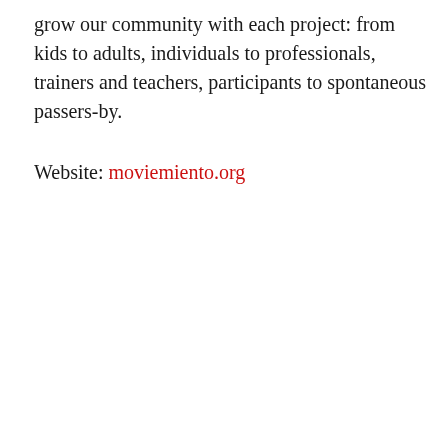grow our community with each project: from kids to adults, individuals to professionals, trainers and teachers, participants to spontaneous passers-by.
Website: moviemiento.org